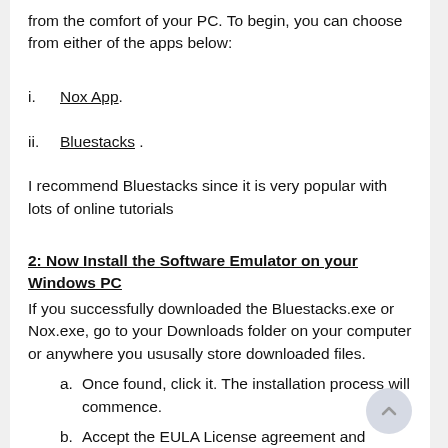from the comfort of your PC. To begin, you can choose from either of the apps below:
i.  Nox App .
ii.  Bluestacks .
I recommend Bluestacks since it is very popular with lots of online tutorials
2: Now Install the Software Emulator on your Windows PC
If you successfully downloaded the Bluestacks.exe or Nox.exe, go to your Downloads folder on your computer or anywhere you ususally store downloaded files.
a. Once found, click it. The installation process will commence.
b. Accept the EULA License agreement and Follow the on-screen directives.
If you do the above correctly, the Software will be